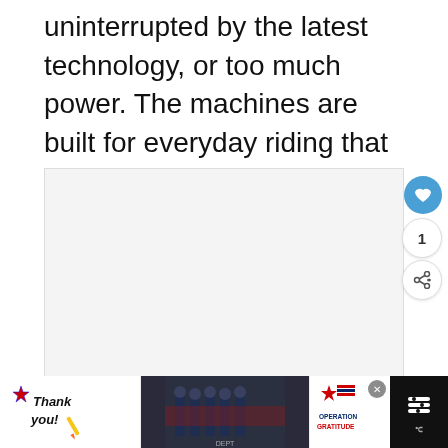uninterrupted by the latest technology, or too much power. The machines are built for everyday riding that most riders do whether that be a commute into the city, country-roads or winding mountain passes.
[Figure (photo): Image slideshow area with a light gray background, showing navigation dots at the bottom. A heart/like button and share button are visible on the right edge. A 'What's Next' panel shows a motorcycle thumbnail and text '26 Best Naked Bikes For 20...']
[Figure (screenshot): Advertisement banner at the bottom: 'Thank you!' Operation Gratitude ad showing military personnel in front of a fire truck, with an American flag star graphic and 'OPERATION GRATITUDE' branding.]